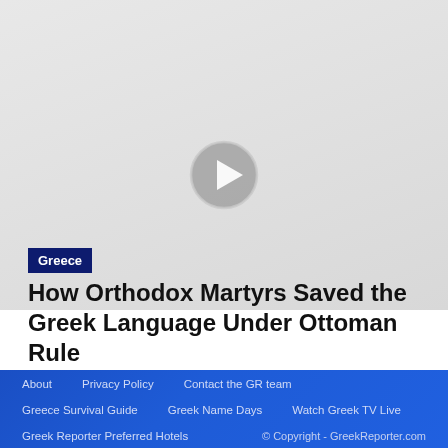[Figure (other): Video player placeholder with gray background and a circular play button in the center]
Greece
How Orthodox Martyrs Saved the Greek Language Under Ottoman Rule
About  Privacy Policy  Contact the GR team  Greece Survival Guide  Greek Name Days  Watch Greek TV Live  Greek Reporter Preferred Hotels  © Copyright - GreekReporter.com